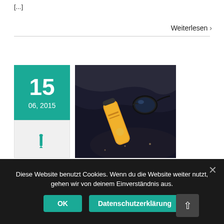[...]
Weiterlesen >
[Figure (other): Date badge showing 15, 06, 2015 with teal background and pen icon below on grey background]
[Figure (photo): Photo of a yellow sunscreen bottle and black sunglasses lying on dark fabric/sand at a beach]
Diese Website benutzt Cookies. Wenn du die Website weiter nutzt, gehen wir von deinem Einverständnis aus.
OK
Datenschutzerklärung